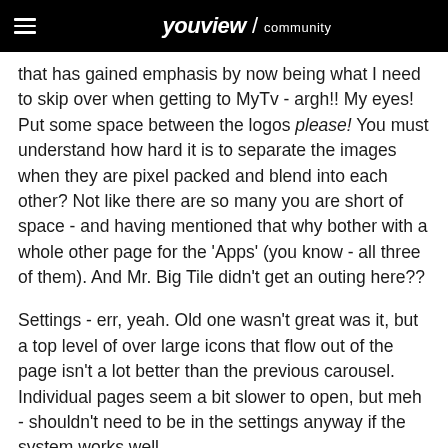youview / community
that has gained emphasis by now being what I need to skip over when getting to MyTv - argh!! My eyes! Put some space between the logos please! You must understand how hard it is to separate the images when they are pixel packed and blend into each other? Not like there are so many you are short of space - and having mentioned that why bother with a whole other page for the 'Apps' (you know - all three of them). And Mr. Big Tile didn't get an outing here??
Settings - err, yeah. Old one wasn't great was it, but a top level of over large icons that flow out of the page isn't a lot better than the previous carousel. Individual pages seem a bit slower to open, but meh - shouldn't need to be in the settings anyway if the system works well.
Mini-guide for MyTv - found this, nice linear list of programs - could solve the horrible picture wall, and you get the current TV behind - whoops: appears to not acknowledge series recordings and just play the latest